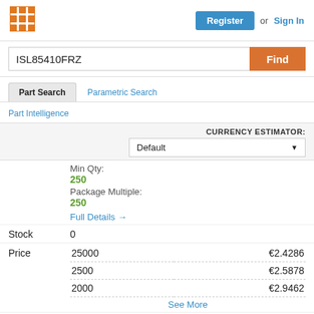[Figure (logo): Orange grid/mosaic logo icon]
Register or Sign In
ISL85410FRZ
Find
Part Search
Parametric Search
Part Intelligence
CURRENCY ESTIMATOR:
Default
Min Qty:
250
Package Multiple:
250
Full Details →
Stock
0
Price
| Qty | Price |
| --- | --- |
| 25000 | €2.4286 |
| 2500 | €2.5878 |
| 2000 | €2.9462 |
See More
Buy